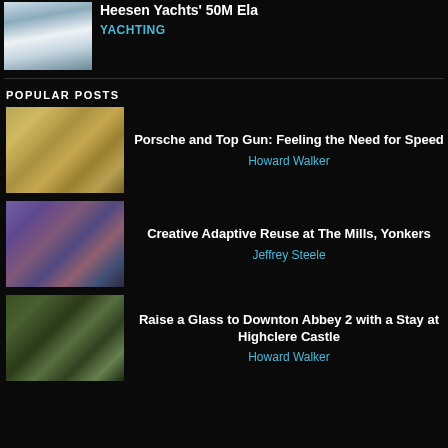[Figure (photo): Luxury white yacht on water — Heesen Yachts' 50M Ela]
Heesen Yachts' 50M Ela
YACHTING
POPULAR POSTS
[Figure (photo): Two people standing next to a classic Porsche car]
Porsche and Top Gun: Feeling the Need for Speed
Howard Walker
[Figure (photo): Modern brick building — The Mills, Yonkers]
Creative Adaptive Reuse at The Mills, Yonkers
Jeffrey Steele
[Figure (photo): Highclere Castle with classic car and people on lawn]
Raise a Glass to Downton Abbey 2 with a Stay at Highclere Castle
Howard Walker